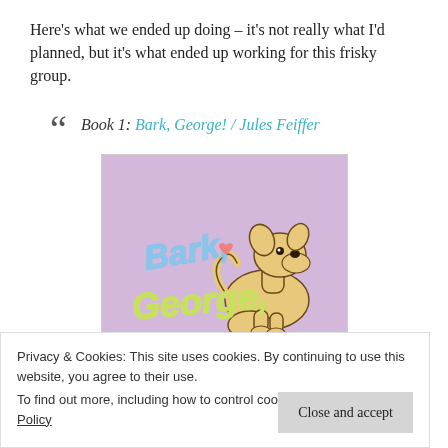Here’s what we ended up doing – it’s not really what I’d planned, but it’s what ended up working for this frisky group.
Book 1: Bark, George! / Jules Feiffer
[Figure (illustration): Book cover of 'Bark, George!' by Jules Feiffer showing a cartoon yellow puppy sitting on a purple/lavender background with the title text in colorful lettering.]
Privacy & Cookies: This site uses cookies. By continuing to use this website, you agree to their use.
To find out more, including how to control cookies, see here: Cookie Policy
Close and accept